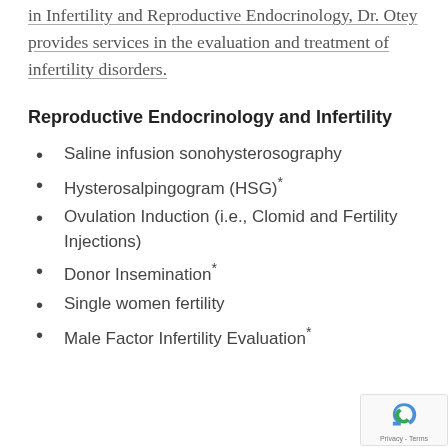in Infertility and Reproductive Endocrinology, Dr. Otey provides services in the evaluation and treatment of infertility disorders.
Reproductive Endocrinology and Infertility
Saline infusion sonohysterosography
Hysterosalpingogram (HSG)*
Ovulation Induction (i.e., Clomid and Fertility Injections)
Donor Insemination*
Single women fertility
Male Factor Infertility Evaluation*